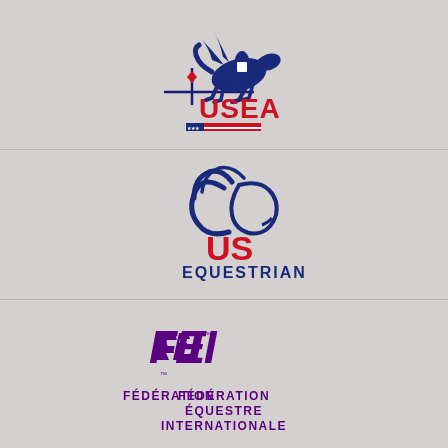[Figure (logo): USEA logo: dark blue silhouette of horse and rider jumping over a fence with diamond marker, with 'USEA' text in red below and American flag-style bar underneath]
[Figure (logo): US Equestrian logo: stylized dark blue horse head profile with abstract curved lines forming a circular shape, with 'US' in red and 'EQUESTRIAN' in dark blue below]
[Figure (logo): FEI logo: stylized 'FEI' text in purple with unique font design, and 'FÉDÉRATION ÉQUESTRE INTERNATIONALE' text below in purple uppercase letters]